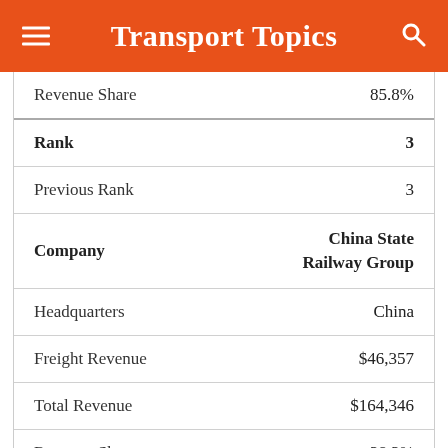Transport Topics
| Revenue Share | 85.8% |
| Rank | 3 |
| Previous Rank | 3 |
| Company | China State Railway Group |
| Headquarters | China |
| Freight Revenue | $46,357 |
| Total Revenue | $164,346 |
| Revenue Share | 28.2% |